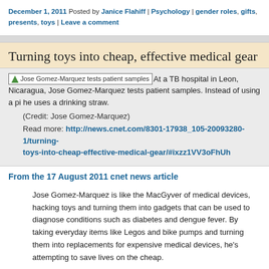December 1, 2011 Posted by Janice Flahiff | Psychology | gender roles, gifts, presents, toys | Leave a comment
Turning toys into cheap, effective medical gear
[Figure (photo): Broken image placeholder labeled 'Jose Gomez-Marquez tests patient samples']
At a TB hospital in Leon, Nicaragua, Jose Gomez-Marquez tests patient samples. Instead of using a pi he uses a drinking straw.
(Credit: Jose Gomez-Marquez)
Read more: http://news.cnet.com/8301-17938_105-20093280-1/turning-toys-into-cheap-effective-medical-gear/#ixzz1VV3oFhUh
From the 17 August 2011 cnet news article
Jose Gomez-Marquez is like the MacGyver of medical devices, hacking toys and turning them into gadgets that can be used to diagnose conditions such as diabetes and dengue fever. By taking everyday items like Legos and bike pumps and turning them into replacements for expensive medical devices, he's attempting to save lives on the cheap.